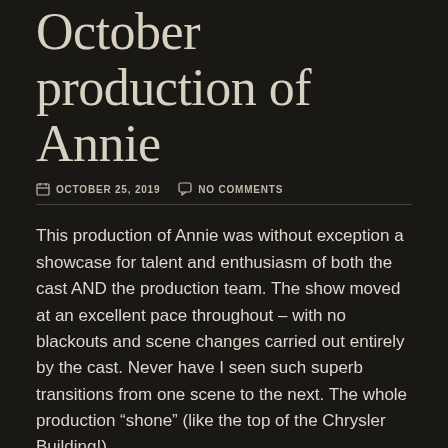October production of Annie
OCTOBER 25, 2019   NO COMMENTS
This production of Annie was without exception a showcase for talent and enthusiasm of both the cast AND the production team. The show moved at an excellent pace throughout – with no blackouts and scene changes carried out entirely by the cast. Never have I seen such superb transitions from one scene to the next. The whole production “shone” (like the top of the Chrysler Building!).
READ MORE